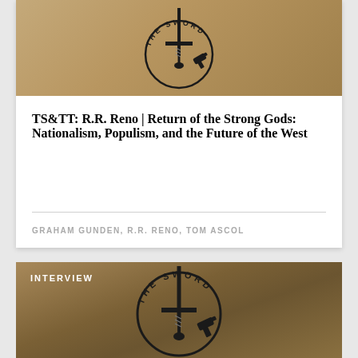[Figure (logo): The Sword podcast logo — a sword with circular text reading THE SWORD, on tan/brown background]
TS&TT: R.R. Reno | Return of the Strong Gods: Nationalism, Populism, and the Future of the West
GRAHAM GUNDEN, R.R. RENO, TOM ASCOL
[Figure (logo): The Sword podcast logo — a sword with circular text reading THE SWORD, on tan/brown gradient background, with INTERVIEW label]